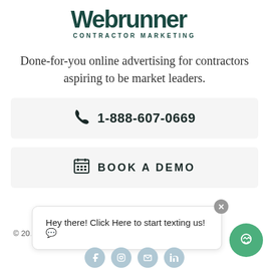[Figure (logo): Webrunner Contractor Marketing logo — bold dark teal wordmark with 'CONTRACTOR MARKETING' subtitle]
Done-for-you online advertising for contractors aspiring to be market leaders.
☎ 1-888-607-0669
📅 BOOK A DEMO
© 20... lic
Hey there! Click Here to start texting us! 💬